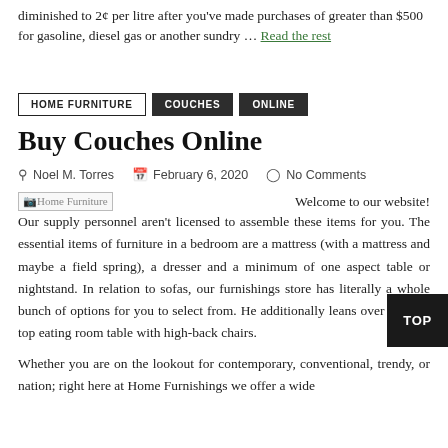diminished to 2¢ per litre after you've made purchases of greater than $500 for gasoline, diesel gas or another sundry ... Read the rest
HOME FURNITURE   COUCHES   ONLINE
Buy Couches Online
Noel M. Torres   February 6, 2020   No Comments
[Figure (illustration): Broken image placeholder labeled 'Home Furniture']
Welcome to our website! Our supply personnel aren't licensed to assemble these items for you. The essential items of furniture in a bedroom are a mattress (with a mattress and maybe a field spring), a dresser and a minimum of one aspect table or nightstand. In relation to sofas, our furnishings store has literally a whole bunch of options for you to select from. He additionally leans over a glass-top eating room table with high-back chairs.
Whether you are on the lookout for contemporary, conventional, trendy, or nation; right here at Home Furnishings we offer a wide